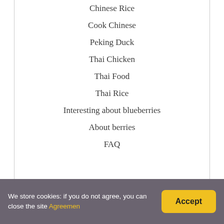Chinese Rice
Cook Chinese
Peking Duck
Thai Chicken
Thai Food
Thai Rice
Interesting about blueberries
About berries
FAQ
We store cookies: if you do not agree, you can close the site Agreemen